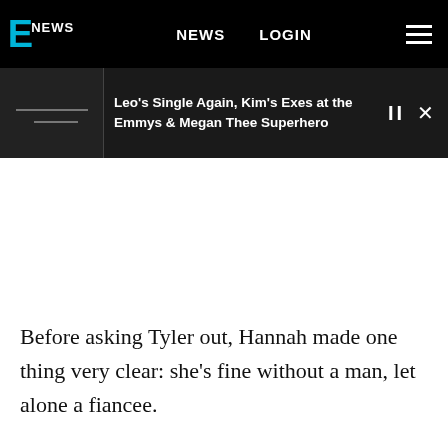E! NEWS  NEWS  LOGIN
Leo's Single Again, Kim's Exes at the Emmys & Megan Thee Superhero
Before asking Tyler out, Hannah made one thing very clear: she's fine without a man, let alone a fiancee.